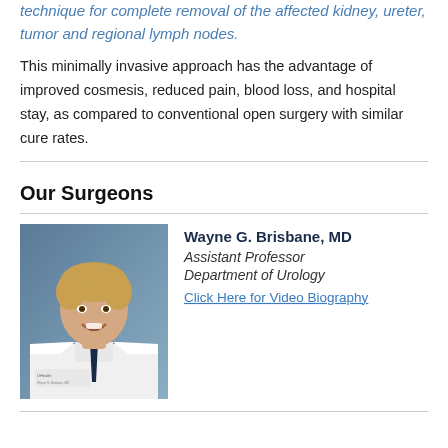technique for complete removal of the affected kidney, ureter, tumor and regional lymph nodes.
This minimally invasive approach has the advantage of improved cosmesis, reduced pain, blood loss, and hospital stay, as compared to conventional open surgery with similar cure rates.
Our Surgeons
[Figure (photo): Professional headshot of Dr. Wayne G. Brisbane, MD, smiling, wearing a white lab coat and dark tie, against a blue-grey background.]
Wayne G. Brisbane, MD
Assistant Professor
Department of Urology
Click Here for Video Biography